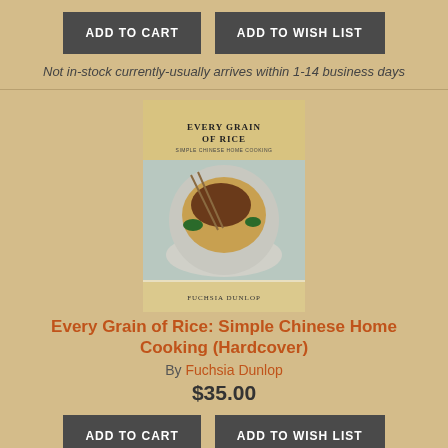ADD TO CART
ADD TO WISH LIST
Not in-stock currently-usually arrives within 1-14 business days
[Figure (photo): Book cover of 'Every Grain of Rice: Simple Chinese Home Cooking' by Fuchsia Dunlop, showing a bowl of noodles with meat topping and green vegetables, and chopsticks]
Every Grain of Rice: Simple Chinese Home Cooking (Hardcover)
By Fuchsia Dunlop
$35.00
ADD TO CART
ADD TO WISH LIST
Not in-stock currently-usually arrives within 1-14 business days
[Figure (photo): Partial book cover of Weber's New Real Grilling, showing dark background with title text]